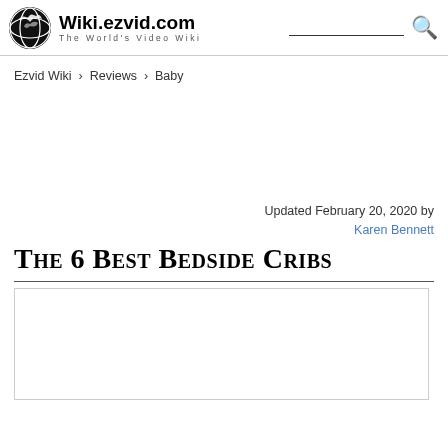Wiki.ezvid.com — The World's Video Wiki
Ezvid Wiki › Reviews › Baby
Updated February 20, 2020 by Karen Bennett
The 6 Best Bedside Cribs
[Figure (other): Embedded video player area (white box with border)]